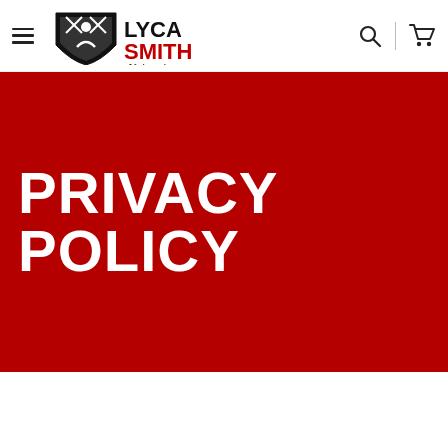LYCA SMITH University — Navigation bar with hamburger menu, logo, search icon, and cart icon
PRIVACY POLICY